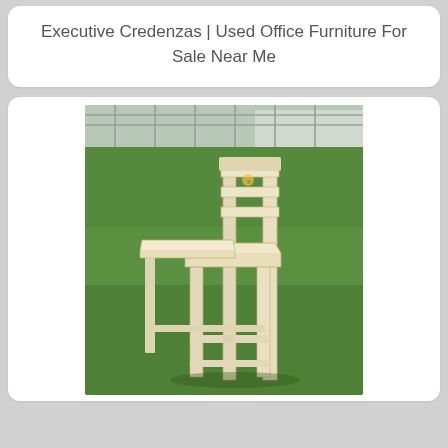Executive Credenzas | Used Office Furniture For Sale Near Me
[Figure (photo): A light-colored unfinished wooden bar stool / high chair with horizontal slat backrest and a small tray/desk attached to the left side, photographed outdoors on green grass with a chain-link fence and building visible in the background.]